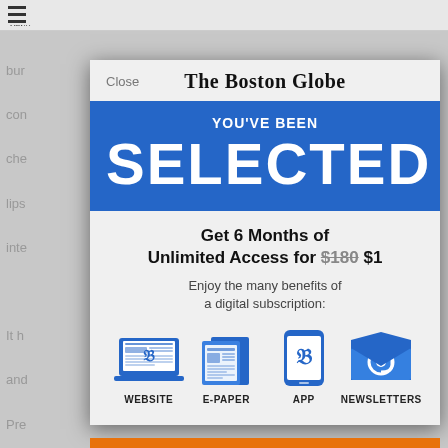[Figure (screenshot): Screenshot of The Boston Globe website with a subscription modal overlay. The modal shows 'YOU'VE BEEN SELECTED' in a blue banner, followed by an offer for 6 months of unlimited access for $1 (regularly $180), with icons for Website, E-Paper, App, and Newsletters.]
The Boston Globe
YOU'VE BEEN
SELECTED
Get 6 Months of Unlimited Access for $180 $1
Enjoy the many benefits of a digital subscription:
WEBSITE
E-PAPER
APP
NEWSLETTERS